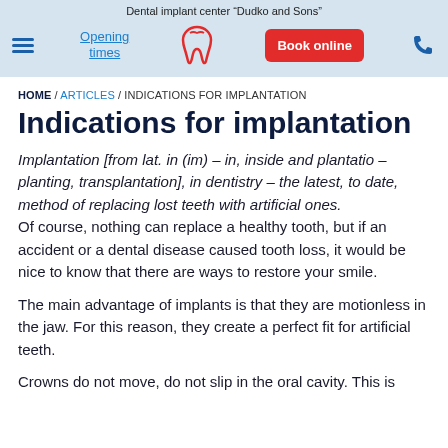Dental implant center "Dudko and Sons"
Opening times | Book online | [phone]
HOME / ARTICLES / INDICATIONS FOR IMPLANTATION
Indications for implantation
Implantation [from lat. in (im) – in, inside and plantatio – planting, transplantation], in dentistry – the latest, to date, method of replacing lost teeth with artificial ones. Of course, nothing can replace a healthy tooth, but if an accident or a dental disease caused tooth loss, it would be nice to know that there are ways to restore your smile.
The main advantage of implants is that they are motionless in the jaw. For this reason, they create a perfect fit for artificial teeth.
Crowns do not move, do not slip in the oral cavity. This is